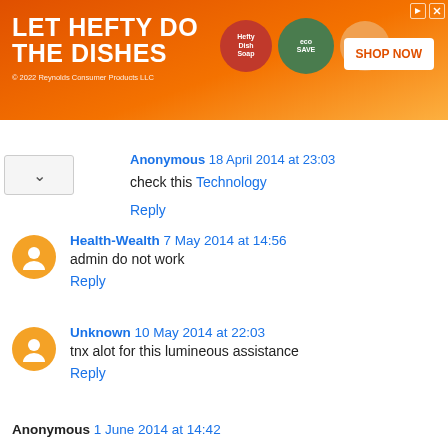[Figure (screenshot): Advertisement banner: orange background, 'LET HEFTY DO THE DISHES' text, product images, SHOP NOW button, © 2022 Reynolds Consumer Products LLC]
Anonymous 18 April 2014 at 23:03
check this Technology
Reply
Health-Wealth 7 May 2014 at 14:56
admin do not work
Reply
Unknown 10 May 2014 at 22:03
tnx alot for this lumineous assistance
Reply
Anonymous 1 June 2014 at 14:42